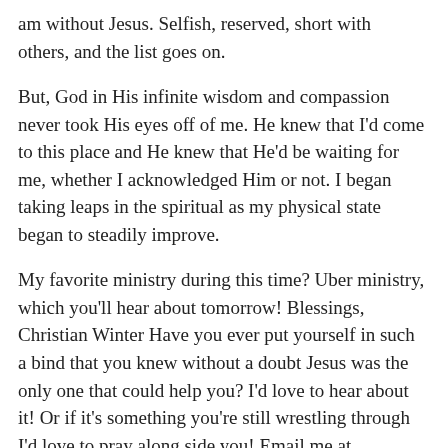am without Jesus. Selfish, reserved, short with others, and the list goes on.
But, God in His infinite wisdom and compassion never took His eyes off of me. He knew that I'd come to this place and He knew that He'd be waiting for me, whether I acknowledged Him or not. I began taking leaps in the spiritual as my physical state began to steadily improve.
My favorite ministry during this time? Uber ministry, which you'll hear about tomorrow! Blessings, Christian Winter Have you ever put yourself in such a bind that you knew without a doubt Jesus was the only one that could help you? I'd love to hear about it! Or if it's something you're still wrestling through I'd love to pray along side you! Email me at christiantwinter@gmail.com and let me know!